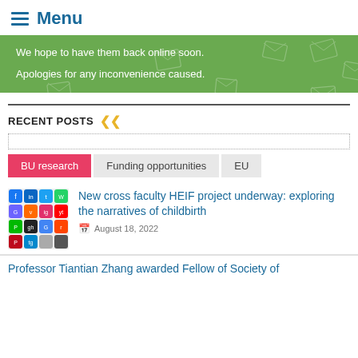Menu
We hope to have them back online soon.

Apologies for any inconvenience caused.
RECENT POSTS
BU research
Funding opportunities
EU
[Figure (screenshot): Grid of social media app icons thumbnail]
New cross faculty HEIF project underway: exploring the narratives of childbirth
August 18, 2022
Professor Tiantian Zhang awarded Fellow of Society of